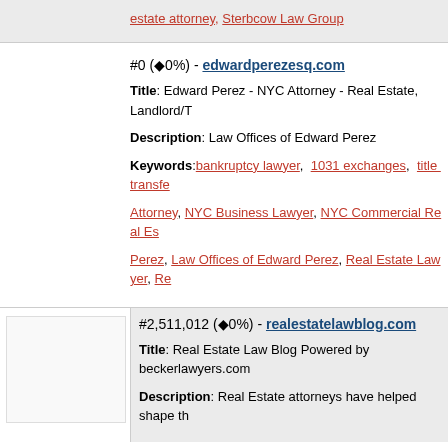estate attorney, Sterbcow Law Group
#0 (◆0%) - edwardperezesq.com
Title: Edward Perez - NYC Attorney - Real Estate, Landlord/T
Description: Law Offices of Edward Perez
Keywords: bankruptcy lawyer, 1031 exchanges, title transfe
Attorney, NYC Business Lawyer, NYC Commercial Real Es
Perez, Law Offices of Edward Perez, Real Estate Lawyer, Re
#2,511,012 (◆0%) - realestatelawblog.com
Title: Real Estate Law Blog Powered by beckerlawyers.com
Description: Real Estate attorneys have helped shape th